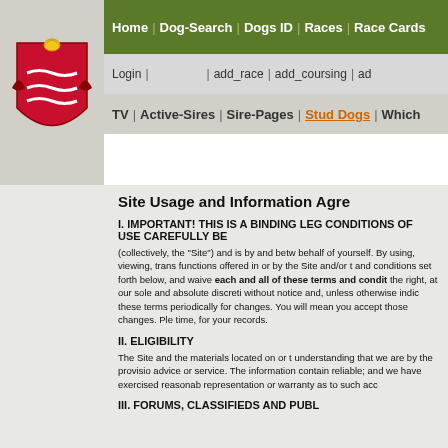[Figure (logo): Coat of arms / heraldic crest logo on grey background]
Home | Dog-Search | Dogs ID | Races | Race Cards
Login | add_race | add_coursing | ad
TV | Active-Sires | Sire-Pages | Stud Dogs | Which
Site Usage and Information Agree
I. IMPORTANT! THIS IS A BINDING LEG CONDITIONS OF USE CAREFULLY BE
(collectively, the "Site") and is by and betw behalf of yourself. By using, viewing, trans functions offered in or by the Site and/or t and conditions set forth below, and waive each and all of these terms and condit the right, at our sole and absolute discreti without notice and, unless otherwise indic these terms periodically for changes. You will mean you accept those changes. Ple time, for your records.
II. ELIGIBILITY
The Site and the materials located on or t understanding that we are by the provisio advice or service. The information contain reliable; and we have exercised reasonab representation or warranty as to such acc
III. FORUMS, CLASSIFIEDS AND PUBL